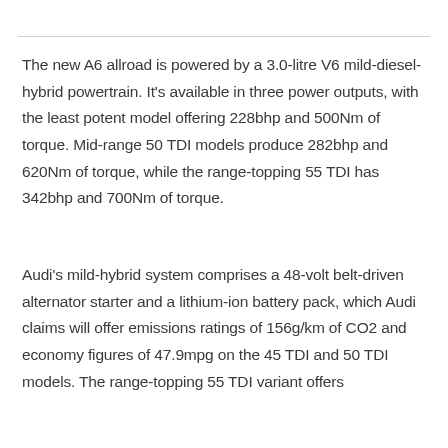The new A6 allroad is powered by a 3.0-litre V6 mild-diesel-hybrid powertrain. It's available in three power outputs, with the least potent model offering 228bhp and 500Nm of torque. Mid-range 50 TDI models produce 282bhp and 620Nm of torque, while the range-topping 55 TDI has 342bhp and 700Nm of torque.
Audi's mild-hybrid system comprises a 48-volt belt-driven alternator starter and a lithium-ion battery pack, which Audi claims will offer emissions ratings of 156g/km of CO2 and economy figures of 47.9mpg on the 45 TDI and 50 TDI models. The range-topping 55 TDI variant offers